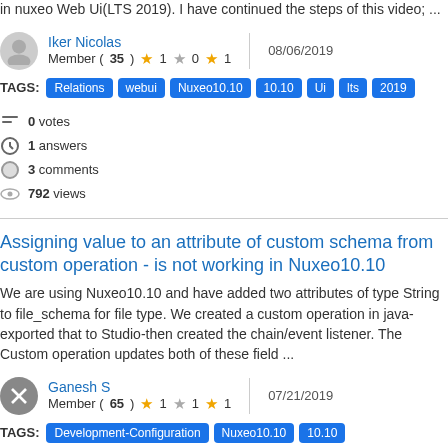in nuxeo Web Ui(LTS 2019). I have continued the steps of this video; ...
Iker Nicolas
Member (35) ★ 1 ☆ 0 ★ 1 | 08/06/2019
TAGS: Relations webui Nuxeo10.10 10.10 Ui lts 2019
0 votes
1 answers
3 comments
792 views
Assigning value to an attribute of custom schema from custom operation - is not working in Nuxeo10.10
We are using Nuxeo10.10 and have added two attributes of type String to file_schema for file type. We created a custom operation in java- exported that to Studio-then created the chain/event listener. The Custom operation updates both of these field ...
Ganesh S
Member (65) ★ 1 ☆ 1 ★ 1 | 07/21/2019
TAGS: Development-Configuration Nuxeo10.10 10.10